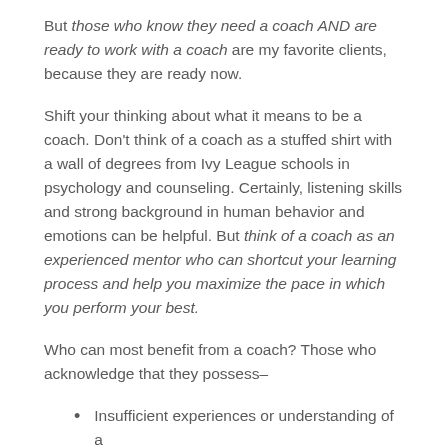But those who know they need a coach AND are ready to work with a coach are my favorite clients, because they are ready now.
Shift your thinking about what it means to be a coach. Don't think of a coach as a stuffed shirt with a wall of degrees from Ivy League schools in psychology and counseling. Certainly, listening skills and strong background in human behavior and emotions can be helpful. But think of a coach as an experienced mentor who can shortcut your learning process and help you maximize the pace in which you perform your best.
Who can most benefit from a coach? Those who acknowledge that they possess–
Insufficient experiences or understanding of a